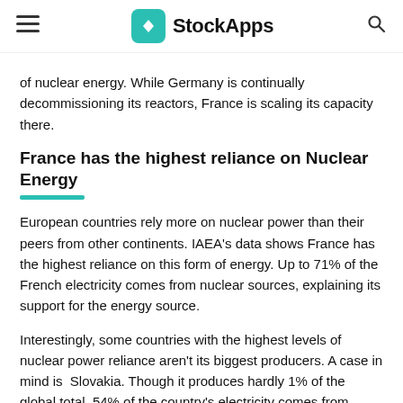StockApps
of nuclear energy. While Germany is continually decommissioning its reactors, France is scaling its capacity there.
France has the highest reliance on Nuclear Energy
European countries rely more on nuclear power than their peers from other continents. IAEA's data shows France has the highest reliance on this form of energy. Up to 71% of the French electricity comes from nuclear sources, explaining its support for the energy source.
Interestingly, some countries with the highest levels of nuclear power reliance aren't its biggest producers. A case in mind is  Slovakia. Though it produces hardly 1% of the global total, 54% of the country's electricity comes from